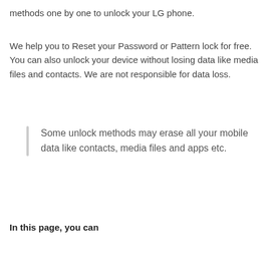methods one by one to unlock your LG phone.
We help you to Reset your Password or Pattern lock for free. You can also unlock your device without losing data like media files and contacts. We are not responsible for data loss.
Some unlock methods may erase all your mobile data like contacts, media files and apps etc.
In this page, you can